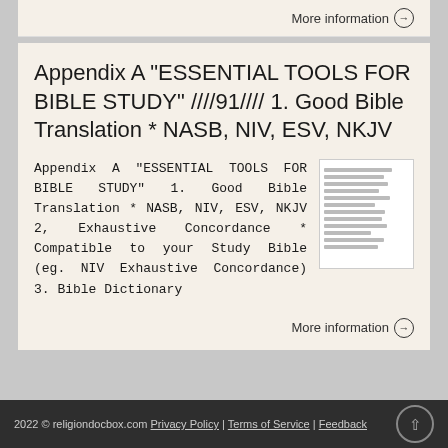More information →
Appendix A "ESSENTIAL TOOLS FOR BIBLE STUDY" ////91//// 1. Good Bible Translation * NASB, NIV, ESV, NKJV
Appendix A "ESSENTIAL TOOLS FOR BIBLE STUDY" 1. Good Bible Translation * NASB, NIV, ESV, NKJV 2, Exhaustive Concordance * Compatible to your Study Bible (eg. NIV Exhaustive Concordance) 3. Bible Dictionary
[Figure (screenshot): Thumbnail image of a document page with text lines]
More information →
2022 © religiondocbox.com Privacy Policy | Terms of Service | Feedback